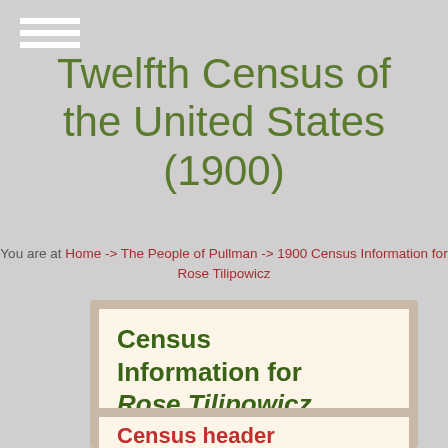Twelfth Census of the United States (1900)
You are at Home -> The People of Pullman -> 1900 Census Information for Rose Tilipowicz
Census Information for Rose Tilipowicz
Census header